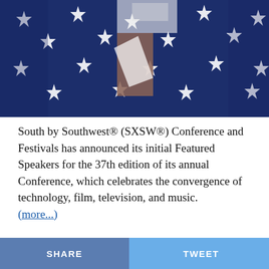[Figure (photo): Close-up photo of a person wearing a USA flag-patterned outfit with white stars on dark navy blue fabric, showing the midsection and clothing detail]
South by Southwest® (SXSW®) Conference and Festivals has announced its initial Featured Speakers for the 37th edition of its annual Conference, which celebrates the convergence of technology, film, television, and music. (more...)
SHARE   TWEET   ...